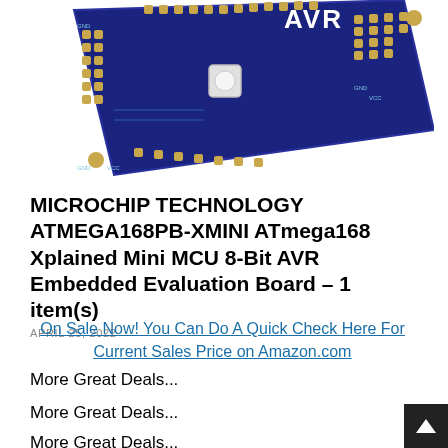[Figure (photo): AVR microchip evaluation board (ATmega168 Xplained Mini) photographed at an angle showing the dark blue PCB with gold-colored pin headers, a white button, and the AVR logo in white text.]
MICROCHIP TECHNOLOGY ATMEGA168PB-XMINI ATmega168 Xplained Mini MCU 8-Bit AVR Embedded Evaluation Board – 1 item(s)
APRIL 25, 2022
On Sale Now! You Can Do A Quick Check Here For Current Sales Price on Amazon.com
More Great Deals...
More Great Deals...
More Great Deals...